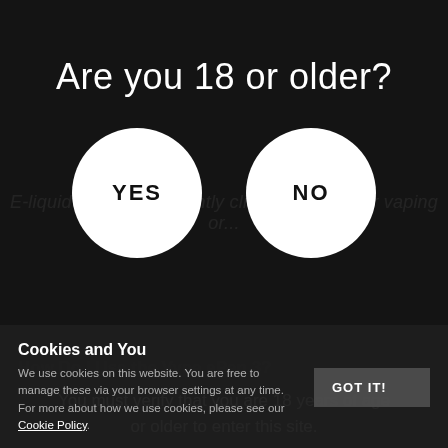Are you 18 or older?
E-liquid pods conveniently click in and out for vaping or...
[Figure (other): Two circular white buttons labeled YES and NO for age verification]
You must verify that you are 18 years of age or older to enter this site.
How Do I Use the Vype ePen 3?
Cookies and You
We use cookies on this website. You are free to manage these via your browser settings at any time. For more about how we use cookies, please see our Cookie Policy.